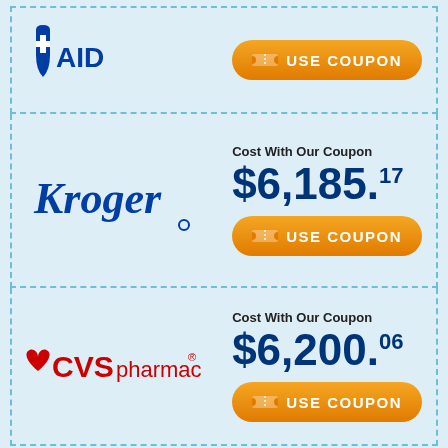[Figure (logo): Rite Aid pharmacy logo (partial, top cropped)]
[Figure (other): Orange USE COUPON button for Rite Aid]
Cost With Our Coupon
$6,185.17
[Figure (logo): Kroger logo in blue italic script]
[Figure (other): Orange USE COUPON button for Kroger]
Cost With Our Coupon
$6,200.06
[Figure (logo): CVS pharmacy logo with red heart]
[Figure (other): Orange USE COUPON button for CVS]